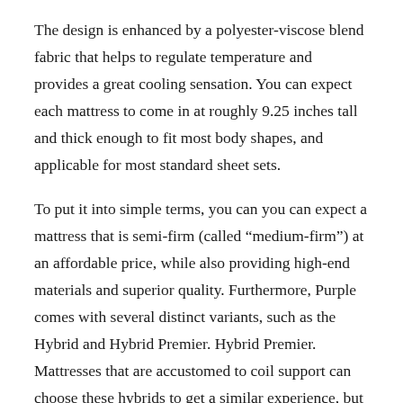The design is enhanced by a polyester-viscose blend fabric that helps to regulate temperature and provides a great cooling sensation. You can expect each mattress to come in at roughly 9.25 inches tall and thick enough to fit most body shapes, and applicable for most standard sheet sets.
To put it into simple terms, you can you can expect a mattress that is semi-firm (called “medium-firm”) at an affordable price, while also providing high-end materials and superior quality. Furthermore, Purple comes with several distinct variants, such as the Hybrid and Hybrid Premier. Hybrid Premier. Mattresses that are accustomed to coil support can choose these hybrids to get a similar experience, but with the added benefit of Purple's exclusive technology.
What Benefits Can I Expect?
But how does this really compare to a standard mattress, and